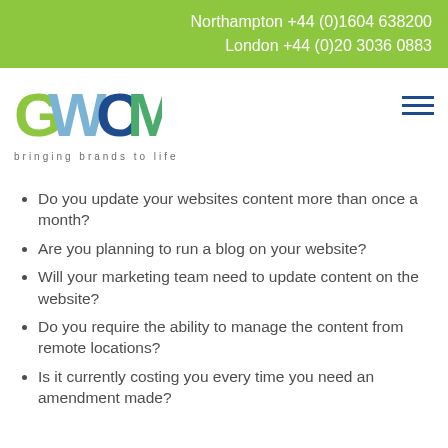Northampton +44 (0)1604 638200
London +44 (0)20 3036 0883
[Figure (logo): GWCM logo with colourful letters and tagline 'bringing brands to life']
Do you update your websites content more than once a month?
Are you planning to run a blog on your website?
Will your marketing team need to update content on the website?
Do you require the ability to manage the content from remote locations?
Is it currently costing you every time you need an amendment made?